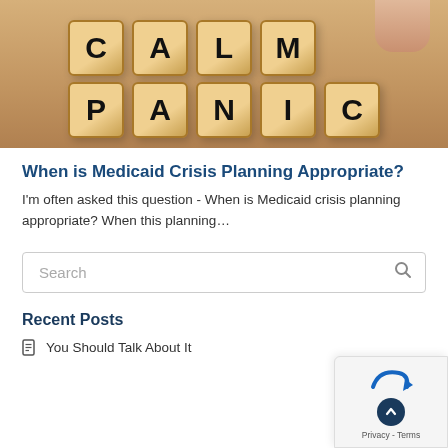[Figure (photo): Photo of wooden alphabet blocks arranged to spell CALM on top and PANIC on the bottom, with a hand visible placing a block in the upper right. Blocks are wooden with black letters on a tan/beige background.]
When is Medicaid Crisis Planning Appropriate?
I'm often asked this question - When is Medicaid crisis planning appropriate?  When this planning...
Search
Recent Posts
You Should Talk About It